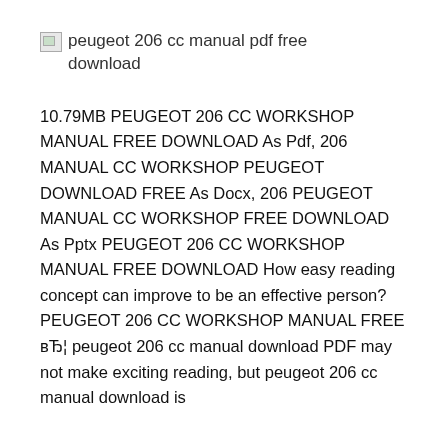[Figure (other): Broken image placeholder with alt text: peugeot 206 cc manual pdf free download]
10.79MB PEUGEOT 206 CC WORKSHOP MANUAL FREE DOWNLOAD As Pdf, 206 MANUAL CC WORKSHOP PEUGEOT DOWNLOAD FREE As Docx, 206 PEUGEOT MANUAL CC WORKSHOP FREE DOWNLOAD As Pptx PEUGEOT 206 CC WORKSHOP MANUAL FREE DOWNLOAD How easy reading concept can improve to be an effective person? PEUGEOT 206 CC WORKSHOP MANUAL FREE вЂ¦ peugeot 206 cc manual download PDF may not make exciting reading, but peugeot 206 cc manual download is